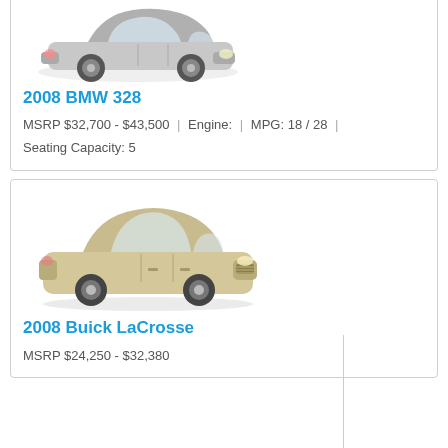[Figure (photo): 2008 BMW 328 car image, silver sedan, partially visible at top]
2008 BMW 328
MSRP $32,700 - $43,500 | Engine: | MPG: 18 / 28 | Seating Capacity: 5
[Figure (photo): 2008 Buick LaCrosse car image, champagne/gold sedan]
2008 Buick LaCrosse
MSRP $24,250 - $32,380